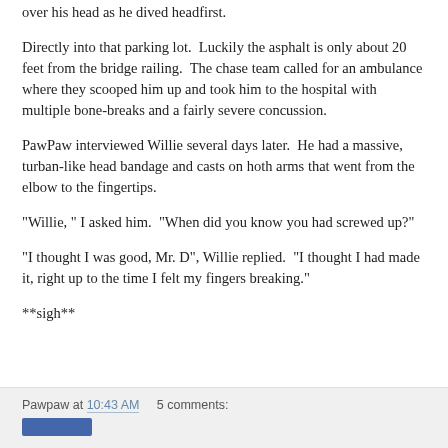over his head as he dived headfirst.
Directly into that parking lot.  Luckily the asphalt is only about 20 feet from the bridge railing.  The chase team called for an ambulance where they scooped him up and took him to the hospital with multiple bone-breaks and a fairly severe concussion.
PawPaw interviewed Willie several days later.  He had a massive, turban-like head bandage and casts on hoth arms that went from the elbow to the fingertips.
"Willie, " I asked him.  "When did you know you had screwed up?"
"I thought I was good, Mr. D", Willie replied.  "I thought I had made it, right up to the time I felt my fingers breaking."
**sigh**
Pawpaw at 10:43 AM    5 comments: